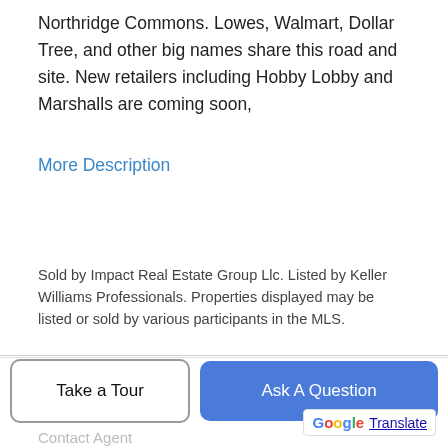Northridge Commons. Lowes, Walmart, Dollar Tree, and other big names share this road and site. New retailers including Hobby Lobby and Marshalls are coming soon,
More Description
Sold by Impact Real Estate Group Llc. Listed by Keller Williams Professionals. Properties displayed may be listed or sold by various participants in the MLS.
Listing Details  Updated 32 min ago
Features & Amenities
Schools